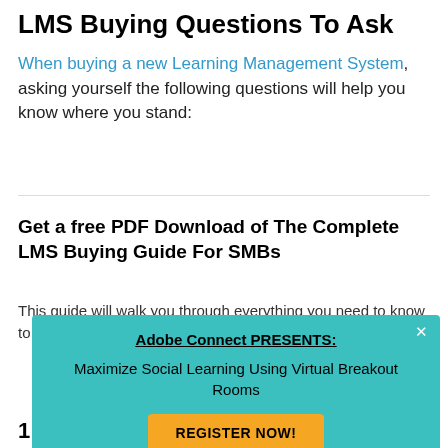LMS Buying Questions To Ask
When buying a new Learning Management System, asking yourself the following questions will help you know where you stand:
Get a free PDF Download of The Complete LMS Buying Guide For SMBs
This guide will walk you through everything you need to know to become a savvy LMS buyer.
[Figure (other): Adobe Connect promotional popup overlay with teal background. Header: 'Adobe Connect PRESENTS:' (bold, underlined). Body text: 'Maximize Social Learning Using Virtual Breakout Rooms'. Yellow button: 'REGISTER NOW!']